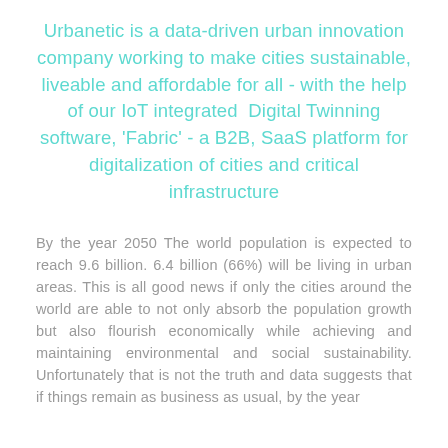Urbanetic is a data-driven urban innovation company working to make cities sustainable, liveable and affordable for all - with the help of our IoT integrated Digital Twinning software, 'Fabric' - a B2B, SaaS platform for digitalization of cities and critical infrastructure
By the year 2050 The world population is expected to reach 9.6 billion. 6.4 billion (66%) will be living in urban areas. This is all good news if only the cities around the world are able to not only absorb the population growth but also flourish economically while achieving and maintaining environmental and social sustainability. Unfortunately that is not the truth and data suggests that if things remain as business as usual, by the year